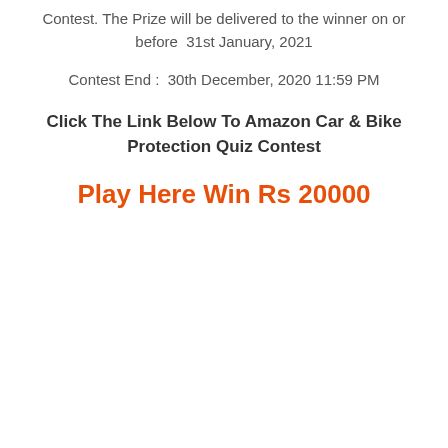Contest. The Prize will be delivered to the winner on or before 31st January, 2021
Contest End :  30th December, 2020 11:59 PM
Click The Link Below To Amazon Car & Bike Protection Quiz Contest
Play Here Win Rs 20000